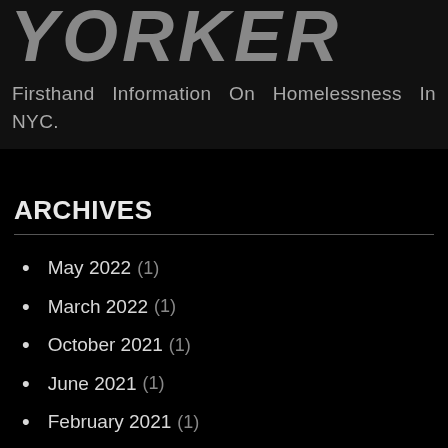YORKER
Firsthand Information On Homelessness In NYC.
ARCHIVES
May 2022 (1)
March 2022 (1)
October 2021 (1)
June 2021 (1)
February 2021 (1)
January 2021 (1)
August 2020 (1)